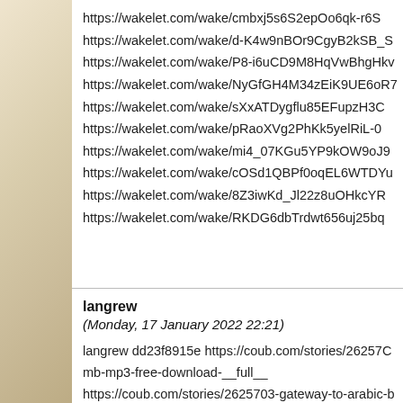https://wakelet.com/wake/cmbxj5s6S2epOo6qk-r6S
https://wakelet.com/wake/d-K4w9nBOr9CgyB2kSB_S
https://wakelet.com/wake/P8-i6uCD9M8HqVwBhgHkv
https://wakelet.com/wake/NyGfGH4M34zEiK9UE6oR7
https://wakelet.com/wake/sXxATDygflu85EFupzH3C
https://wakelet.com/wake/pRaoXVg2PhKk5yelRiL-0
https://wakelet.com/wake/mi4_07KGu5YP9kOW9oJ9
https://wakelet.com/wake/cOSd1QBPf0oqEL6WTDYu
https://wakelet.com/wake/8Z3iwKd_Jl22z8uOHkcYR
https://wakelet.com/wake/RKDG6dbTrdwt656uj25bq
langrew
(Monday, 17 January 2022 22:21)
langrew dd23f8915e https://coub.com/stories/262570 mb-mp3-free-download-__full__ https://coub.com/stories/2625703-gateway-to-arabic-b https://coub.com/stories/2625700-la-ultima-tentacion